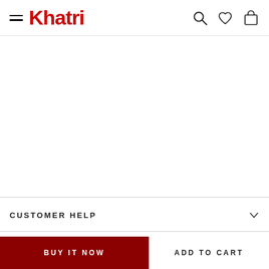Khatri
CUSTOMER HELP
SIGN UP AND SAVE
BUY IT NOW
ADD TO CART